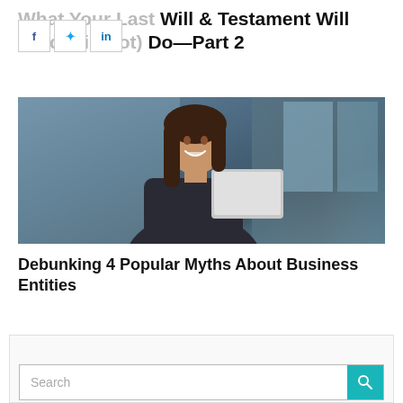What Your Last Will & Testament Will (And Will Not) Do—Part 2
[Figure (photo): A smiling young woman with long brown hair, sitting at a table holding a laptop, with a blue curtain and window in the background.]
Debunking 4 Popular Myths About Business Entities
[Figure (screenshot): A search box with teal search button at bottom of page, inside a light gray sidebar panel.]